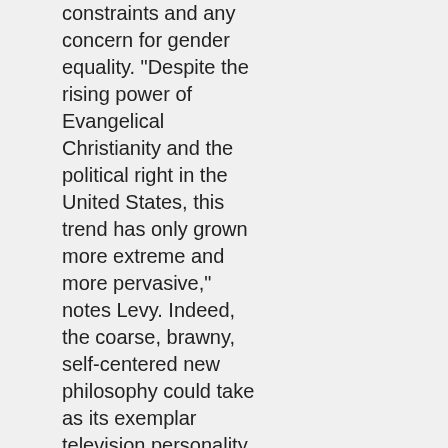constraints and any concern for gender equality. "Despite the rising power of Evangelical Christianity and the political right in the United States, this trend has only grown more extreme and more pervasive," notes Levy. Indeed, the coarse, brawny, self-centered new philosophy could take as its exemplar television personality Bill O'Reilly, a man who, it was alleged in a sexual harassment lawsuit, is as interpersonally crude as he is politically rough and bullying. Americans, writes Environics founder Michael Adams in his 2005 book American Backlash: The Untold Story of Social Change in the United States [not yet published in